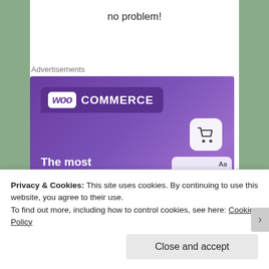no problem!
Advertisements
[Figure (screenshot): WooCommerce advertisement banner — purple background with WooCommerce logo, tagline 'The most customizable eCommerce platform', a 'Start a new store' button, and a UI mockup with cart icon on the right.]
Privacy & Cookies: This site uses cookies. By continuing to use this website, you agree to their use.
To find out more, including how to control cookies, see here: Cookie Policy
Close and accept